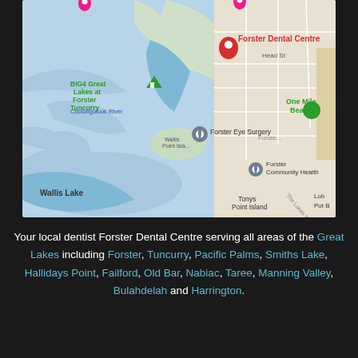[Figure (map): Google Maps screenshot showing Forster, NSW Australia area including Wallis Lake, Coolongolook River, Wallis Point Island, Tonys Point Island, One Mile Beach. Markers: Forster Dental Centre (red), BIG4 Great Lakes at Forster Tuncurry (green), Forster Eye Surgery (grey), Forster Community Health (grey), One Mile Beach (green).]
Your local dentist Forster Dental Centre serving all areas of the Great Lakes including Forster, Tuncurry, Pacific Palms, Smiths Lake, Hallidays Point, Failford, Old Bar, Nabiac, Taree, Manning Valley, Bulahdelah and Harrington.